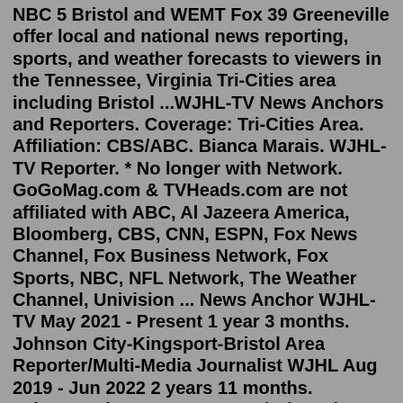NBC 5 Bristol and WEMT Fox 39 Greeneville offer local and national news reporting, sports, and weather forecasts to viewers in the Tennessee, Virginia Tri-Cities area including Bristol ...WJHL-TV News Anchors and Reporters. Coverage: Tri-Cities Area. Affiliation: CBS/ABC. Bianca Marais. WJHL-TV Reporter. * No longer with Network. GoGoMag.com & TVHeads.com are not affiliated with ABC, Al Jazeera America, Bloomberg, CBS, CNN, ESPN, Fox News Channel, Fox Business Network, Fox Sports, NBC, NFL Network, The Weather Channel, Univision ... News Anchor WJHL-TV May 2021 - Present 1 year 3 months. Johnson City-Kingsport-Bristol Area Reporter/Multi-Media Journalist WJHL Aug 2019 - Jun 2022 2 years 11 months. Johnson City, Tennessee ... Al Klensch was the main evening news anchor at WJHL in the late 90's and early 2000's. (AP) - A former television news anchor arrested last year in a sting operation targeting pedophiles was sentenced to three years probation, 90 days of house arrest and 100 hours